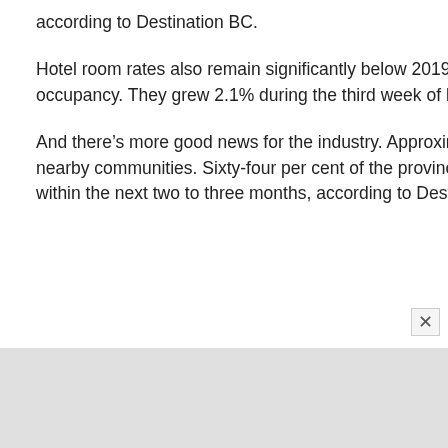according to Destination BC.
Hotel room rates also remain significantly below 2019 levels, but continue to inch up at roughly the same pace as occupancy. They grew 2.1% during the third week of May but are still down 35.1% from the same time last year.
And there’s more good news for the industry. Approximately 80% of British Columbians now feel it’s safe to travel to nearby communities. Sixty-four per cent of the province’s residents are planning an overnight stay elsewhere in B.C. within the next two to three months, according to Destination Canada.